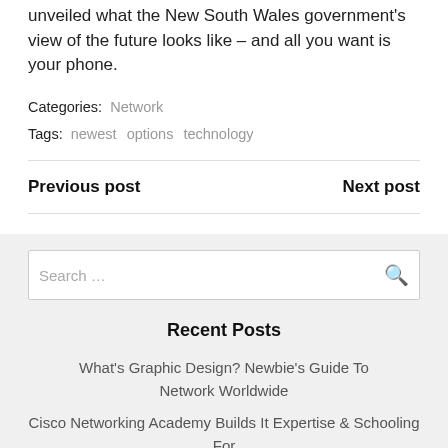unveiled what the New South Wales government's view of the future looks like – and all you want is your phone.
Categories: Network
Tags: newest  options  technology
Previous post
Next post
Search …
Recent Posts
What's Graphic Design? Newbie's Guide To Network Worldwide
Cisco Networking Academy Builds It Expertise & Schooling For